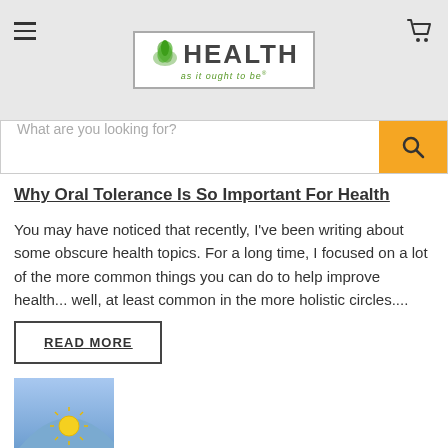HEALTH as it ought to be
What are you looking for?
Why Oral Tolerance Is So Important For Health
You may have noticed that recently, I've been writing about some obscure health topics. For a long time, I focused on a lot of the more common things you can do to help improve health... well, at least common in the more holistic circles....
READ MORE
[Figure (illustration): Sun rising over a blue semi-circle horizon illustration]